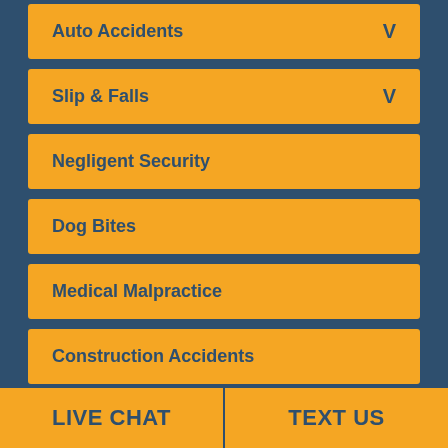Auto Accidents
Slip & Falls
Negligent Security
Dog Bites
Medical Malpractice
Construction Accidents
LIVE CHAT    TEXT US